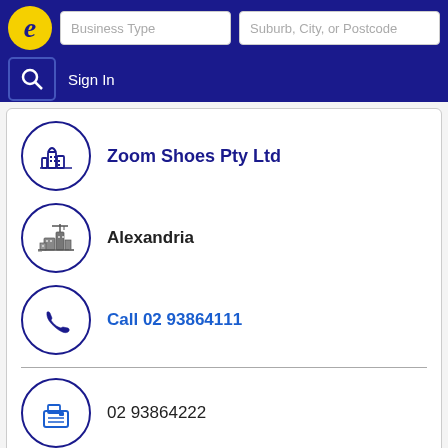Business Type | Suburb, City, or Postcode
Sign In
Zoom Shoes Pty Ltd
Alexandria
Call 02 93864111
02 93864222
Shoes - M/factrs &/or W/salers
146-152 Botany Rd, Alexandria - New South Wales 2015